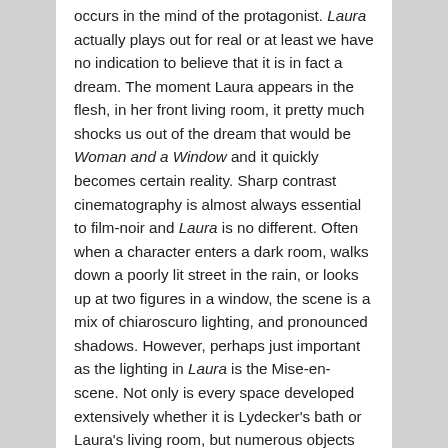occurs in the mind of the protagonist. Laura actually plays out for real or at least we have no indication to believe that it is in fact a dream. The moment Laura appears in the flesh, in her front living room, it pretty much shocks us out of the dream that would be Woman and a Window and it quickly becomes certain reality. Sharp contrast cinematography is almost always essential to film-noir and Laura is no different. Often when a character enters a dark room, walks down a poorly lit street in the rain, or looks up at two figures in a window, the scene is a mix of chiaroscuro lighting, and pronounced shadows. However, perhaps just important as the lighting in Laura is the Mise-en-scene. Not only is every space developed extensively whether it is Lydecker's bath or Laura's living room, but numerous objects within these settings play key roles in the film. The portrait in Laura's home has such a grander purpose in the entirety of the film, but it also fits as part of the decor. The identical clocks in Lydecker and Laura's flats are featured prominently at the beginning and end of the film and they function as more than a piece of furniture. They reflect Lydecker's affection for Laura but also his tendency towards distrust. They are pristine